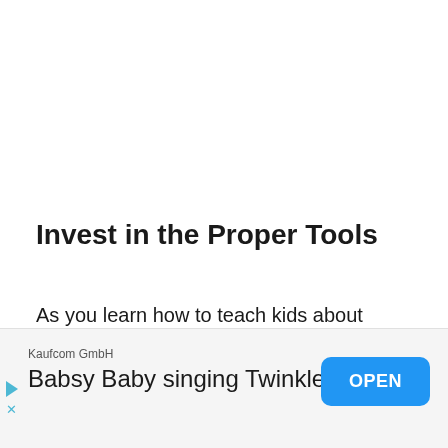Invest in the Proper Tools
As you learn how to teach kids about gardening, you might be tempted to buy those cheap plastic gardening tools that are made for children. Don't do it. The best...
[Figure (other): Mobile advertisement banner: Kaufcom GmbH - Babsy Baby singing Twinkle, with OPEN button]